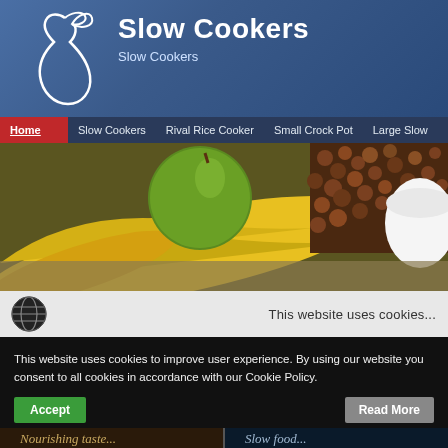[Figure (screenshot): Website screenshot of 'Slow Cookers' site showing header with pear logo and blue gradient background, navigation bar with Home, Slow Cookers, Rival Rice Cooker, Small Crock Pot, Large Slow... menu items, a food photo banner with bananas, green apple and beans, a cookie consent bar with globe icon, a dark cookie popup with Accept and Read More buttons, and partial bottom content strip.]
Slow Cookers
Slow Cookers
Home  Slow Cookers  Rival Rice Cooker  Small Crock Pot  Large Slow
This website uses cookies...
This website uses cookies to improve user experience. By using our website you consent to all cookies in accordance with our Cookie Policy.
Accept
Read More